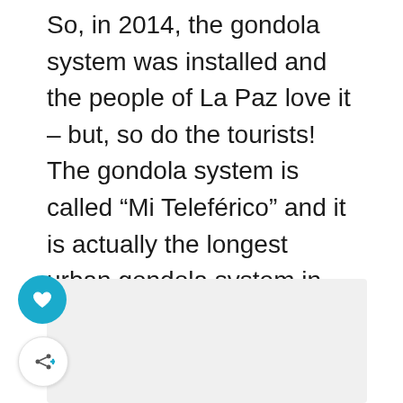So, in 2014, the gondola system was installed and the people of La Paz love it – but, so do the tourists! The gondola system is called “Mi Teleférico” and it is actually the longest urban gondola system in the world!
[Figure (photo): A light gray rectangular placeholder image area]